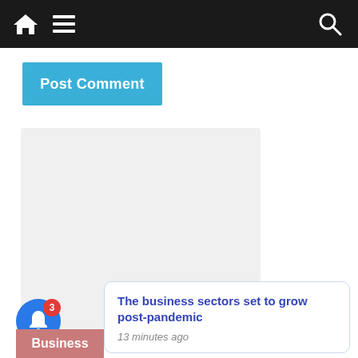Navigation bar with home, menu, and search icons
Post Comment
[Figure (other): Light grey rectangular advertisement or content placeholder box]
X
The business sectors set to grow post-pandemic
13 minutes ago
[Figure (other): Blue notification bell icon with red badge showing count 3]
Business